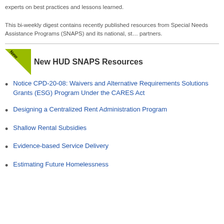experts on best practices and lessons learned. This bi-weekly digest contains recently published resources from Special Needs Assistance Programs (SNAPS) and its national, state partners.
New HUD SNAPS Resources
Notice CPD-20-08: Waivers and Alternative Requirements Solutions Grants (ESG) Program Under the CARES Act
Designing a Centralized Rent Administration Program
Shallow Rental Subsidies
Evidence-based Service Delivery
Estimating Future Homelessness